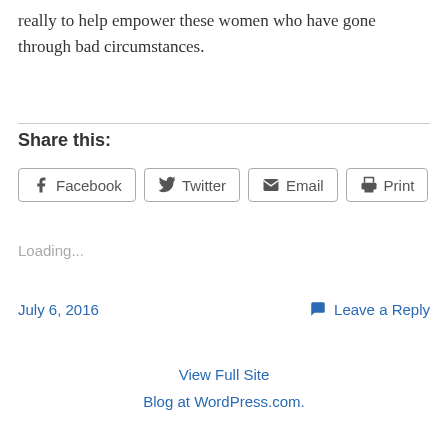really to help empower these women who have gone through bad circumstances.
Share this:
Facebook  Twitter  Email  Print
Loading...
July 6, 2016
Leave a Reply
View Full Site
Blog at WordPress.com.